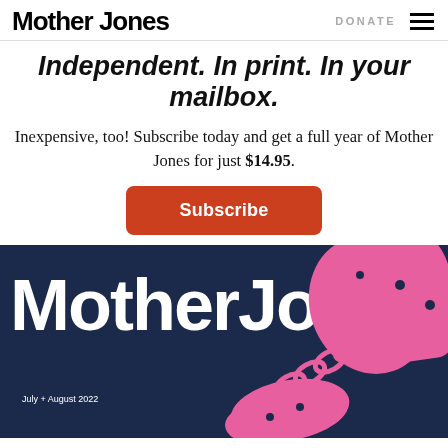Mother Jones | DONATE
Independent. In print. In your mailbox.
Inexpensive, too! Subscribe today and get a full year of Mother Jones for just $14.95.
Subscribe
[Figure (illustration): Mother Jones magazine cover for July + August 2022, dark navy background with large white 'Mother Jones' logo text and pink illustrated figures with chains]